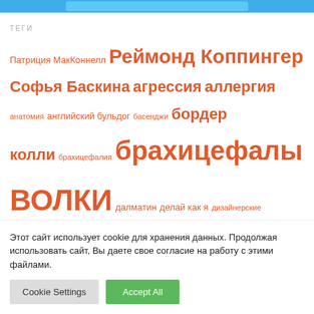[navigation bar]
ТЕГИ
Патриция МакКоннелл Реймонд Коппингер Софья Баскина агрессия аллергия анатомия английский бульдог басенджи бордер колли брахицефалия брахицефалы ВОЛКИ далматин делай как я дизайнерские породы золотистый ретривер зрение собак цру...
Этот сайт использует cookie для хранения данных. Продолжая использовать сайт, Вы даете свое согласие на работу с этими файлами.
Cookie Settings  Accept All